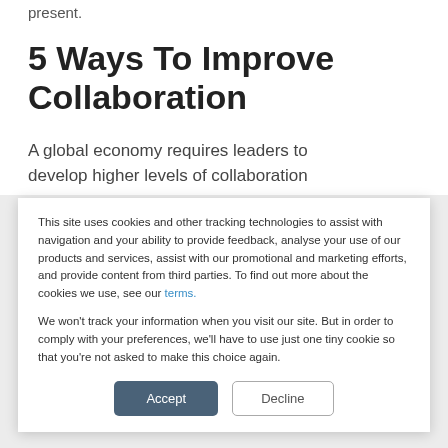present.
5 Ways To Improve Collaboration
A global economy requires leaders to develop higher levels of collaboration
This site uses cookies and other tracking technologies to assist with navigation and your ability to provide feedback, analyse your use of our products and services, assist with our promotional and marketing efforts, and provide content from third parties. To find out more about the cookies we use, see our terms.
We won't track your information when you visit our site. But in order to comply with your preferences, we'll have to use just one tiny cookie so that you're not asked to make this choice again.